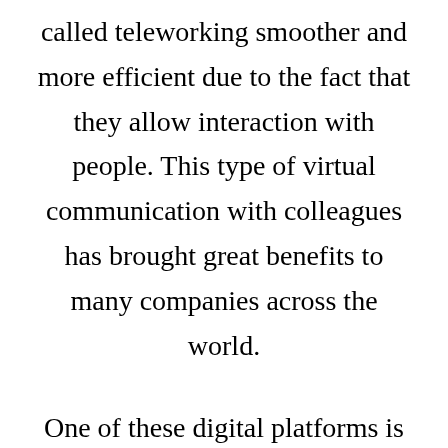called teleworking smoother and more efficient due to the fact that they allow interaction with people. This type of virtual communication with colleagues has brought great benefits to many companies across the world.
One of these digital platforms is Zoom, which has been created in recent years for this purpose, it is also good to know what this application is for. In fact, it has become one of the most popular today, thanks to the fact